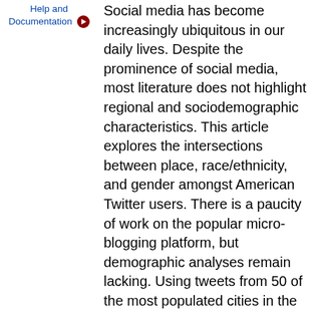Help and Documentation
Social media has become increasingly ubiquitous in our daily lives. Despite the prominence of social media, most literature does not highlight regional and sociodemographic characteristics. This article explores the intersections between place, race/ethnicity, and gender amongst American Twitter users. There is a paucity of work on the popular micro-blogging platform, but demographic analyses remain lacking. Using tweets from 50 of the most populated cities in the United States, we explored how age, gender, and race/ethnicity contribute to our understanding of urban Twitter use. By observing the inter-tweet interval (the time between tweets) of random users and individuals who tweet the most, we discovered that young, black and female users are the most